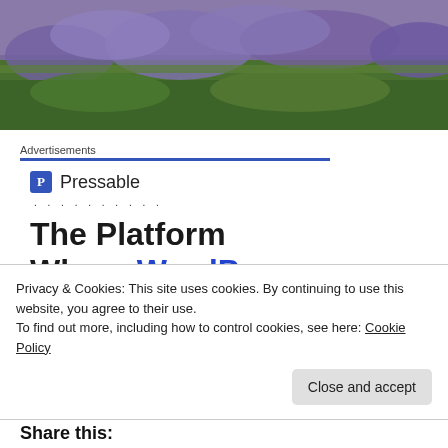[Figure (photo): Aerial photograph of a field with purple lavender or sage flowers and green grass]
Advertisements
[Figure (logo): Pressable logo — blue square with P and the text Pressable, followed by dotted line]
The Platform Where WordPress Works Best
Privacy & Cookies: This site uses cookies. By continuing to use this website, you agree to their use.
To find out more, including how to control cookies, see here: Cookie Policy
Close and accept
Share this: